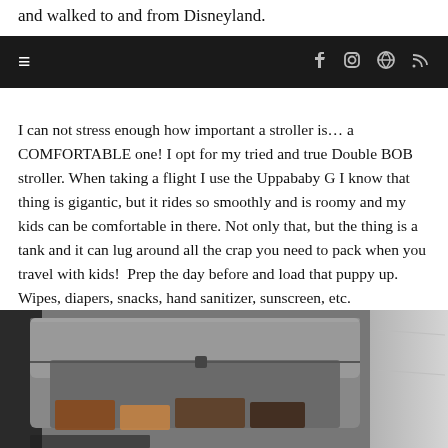and walked to and from Disneyland.
≡   f  [camera]  [pin]  [rss]
I can not stress enough how important a stroller is… a COMFORTABLE one! I opt for my tried and true Double BOB stroller. When taking a flight I use the Uppababy G I know that thing is gigantic, but it rides so smoothly and is roomy and my kids can be comfortable in there. Not only that, but the thing is a tank and it can lug around all the crap you need to pack when you travel with kids!  Prep the day before and load that puppy up. Wipes, diapers, snacks, hand sanitizer, sunscreen, etc.
[Figure (photo): Close-up photo of a packed stroller bag/diaper bag showing the interior with items inside, black bag material visible along with colorful packed items at the bottom and a gray shirt visible on the right side.]